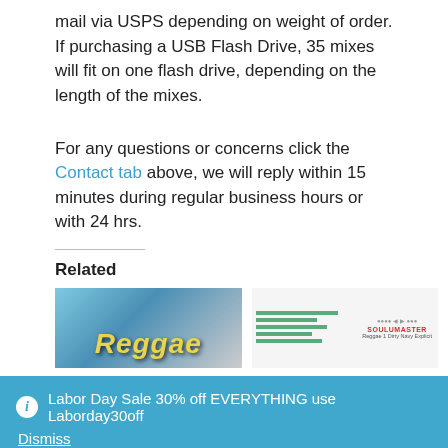mail via USPS depending on weight of order. If purchasing a USB Flash Drive, 35 mixes will fit on one flash drive, depending on the length of the mixes.
For any questions or concerns click the Contact tab above, we will reply within 15 minutes during regular business hours or with 24 hrs.
Related
[Figure (photo): Reggae music thumbnail image]
[Figure (photo): Soulmaster Reggae Dirty Navy Explicit product image]
Labor Day Sale 30% off EVERYTHING use Laborday30off  Dismiss